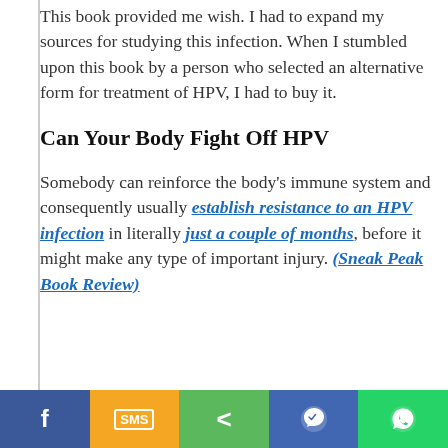This book provided me wish. I had to expand my sources for studying this infection. When I stumbled upon this book by a person who selected an alternative form for treatment of HPV, I had to buy it.
Can Your Body Fight Off HPV
Somebody can reinforce the body's immune system and consequently usually establish resistance to an HPV infection in literally just a couple of months, before it might make any type of important injury. (Sneak Peak Book Review)